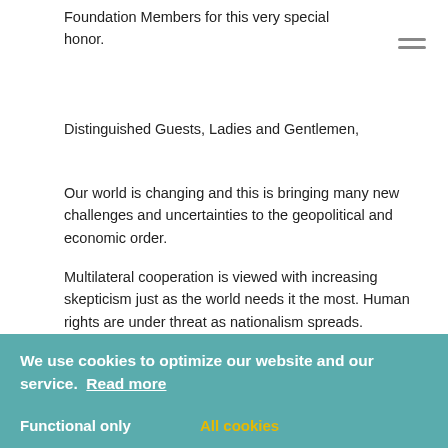Foundation Members for this very special honor.
Distinguished Guests, Ladies and Gentlemen,
Our world is changing and this is bringing many new challenges and uncertainties to the geopolitical and economic order.
Multilateral cooperation is viewed with increasing skepticism just as the world needs it the most. Human rights are under threat as nationalism spreads. Development and humanitarian funds are being slashed.
And our climate crisis is deepening as wildfires burn, sea levels rise higher, and temperatures continue to surge.
Under this backdrop of instability and waning internationalism, I firmly believe that we must work together through expanded partnerships and cooperation, as well a strong commitment to development. Cooperation must be... accountable challenges.
We use cookies to optimize our website and our service. Read more
Functional only
All cookies